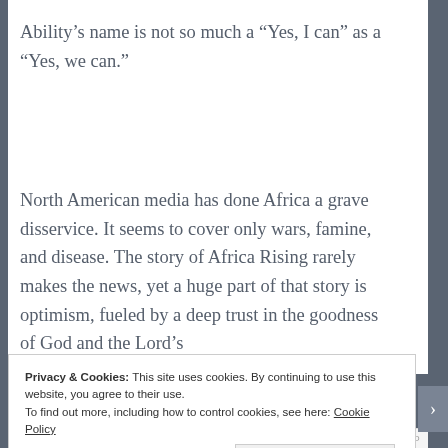Ability's name is not so much a “Yes, I can” as a “Yes, we can.”
North American media has done Africa a grave disservice. It seems to cover only wars, famine, and disease. The story of Africa Rising rarely makes the news, yet a huge part of that story is optimism, fueled by a deep trust in the goodness of God and the Lord’s
Privacy & Cookies: This site uses cookies. By continuing to use this website, you agree to their use.
To find out more, including how to control cookies, see here: Cookie Policy